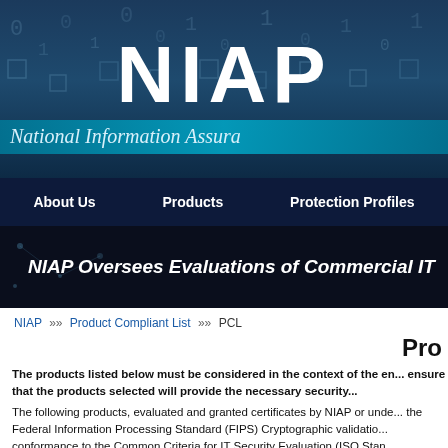[Figure (screenshot): NIAP website header banner with dark blue background showing binary/circuit board imagery, large white bold NIAP text, and italic subtitle 'National Information Assura...']
NIAP  National Information Assura...
About Us   Products   Protection Profiles
[Figure (screenshot): Dark banner with italic bold white text: 'NIAP Oversees Evaluations of Commercial IT']
NIAP  »»  Product Compliant List  »»  PCL
Pro...
The products listed below must be considered in the context of the en... ensure that the products selected will provide the necessary security...
The following products, evaluated and granted certificates by NIAP or unde... the Federal Information Processing Standard (FIPS) Cryptographic validatio... conformance to the Common Criteria for IT Security Evaluation (ISO Stan...